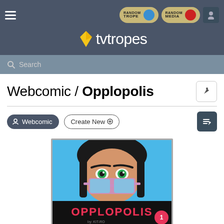TV Tropes website header with navigation: hamburger menu, Random Trope button, Random Media button, user icon, TV Tropes logo, Search bar
Webcomic / Opplopolis
Webcomic   Create New
[Figure (illustration): Cover art for Opplopolis webcomic issue 1: a woman with green eyes and large blue-tinted pink sunglasses against a bright blue background, with the title OPPLOPOLIS in bold red/pink letters and 'by: KIT-RO C.BUCK' at the bottom.]